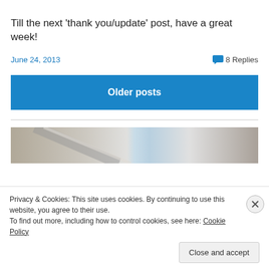Till the next ‘thank you/update’ post, have a great week!
June 24, 2013
8 Replies
Older posts
[Figure (photo): Partial photo strip showing architectural or outdoor scene with blurred elements]
Privacy & Cookies: This site uses cookies. By continuing to use this website, you agree to their use.
To find out more, including how to control cookies, see here: Cookie Policy
Close and accept